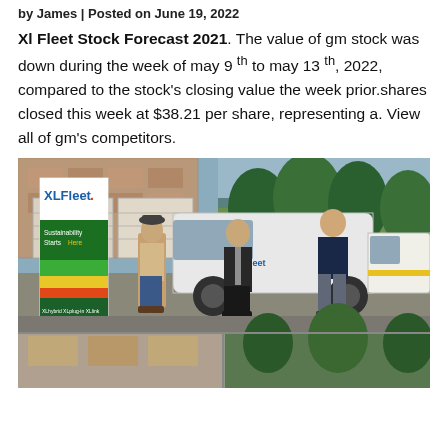by James | Posted on June 19, 2022
Xl Fleet Stock Forecast 2021. The value of gm stock was down during the week of may 9 th to may 13 th, 2022, compared to the stock's closing value the week prior.shares closed this week at $38.21 per share, representing a. View all of gm's competitors.
[Figure (photo): XL Fleet event photo showing three people standing in a parking lot in front of a white truck with XLFleet branding. A large XL Fleet banner is visible on the left showing 'Sustainability Starts Here'. A second photo strip is partially visible at the bottom.]